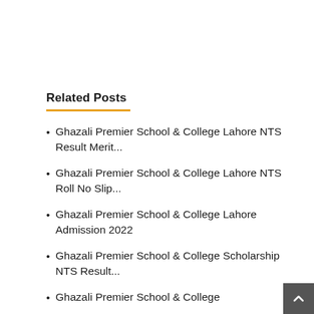Related Posts
Ghazali Premier School & College Lahore NTS Result Merit...
Ghazali Premier School & College Lahore NTS Roll No Slip...
Ghazali Premier School & College Lahore Admission 2022
Ghazali Premier School & College Scholarship NTS Result...
Ghazali Premier School & College Scholarship NTS Roll No...